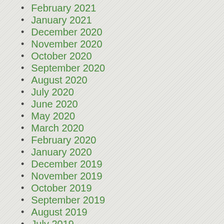February 2021
January 2021
December 2020
November 2020
October 2020
September 2020
August 2020
July 2020
June 2020
May 2020
March 2020
February 2020
January 2020
December 2019
November 2019
October 2019
September 2019
August 2019
July 2019
June 2019